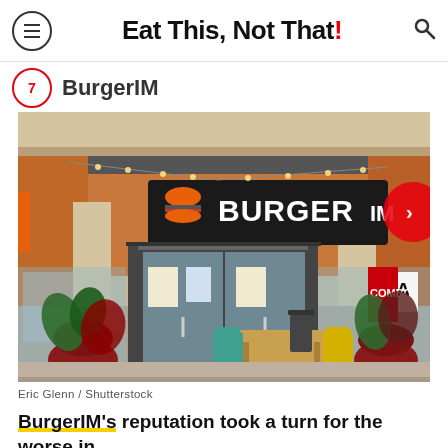Eat This, Not That!
BurgerIM
[Figure (photo): Exterior storefront photo of a BurgerIM restaurant with orange facade, large signage showing the BurgerIM logo, glass entrance doors, outdoor seating with wooden table and teal/yellow chairs, and potted plants. Photo credit: Eric Glenn / Shutterstock.]
Eric Glenn / Shutterstock
BurgerIM's reputation took a turn for the worse in